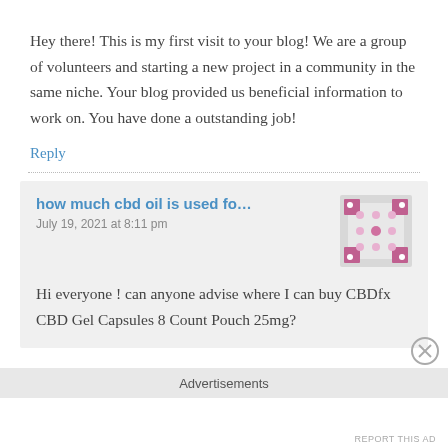Hey there! This is my first visit to your blog! We are a group of volunteers and starting a new project in a community in the same niche. Your blog provided us beneficial information to work on. You have done a outstanding job!
Reply
how much cbd oil is used fo…
July 19, 2021 at 8:11 pm
[Figure (illustration): Pink/magenta decorative avatar icon with polka dot pattern]
Hi everyone ! can anyone advise where I can buy CBDfx CBD Gel Capsules 8 Count Pouch 25mg?
Advertisements